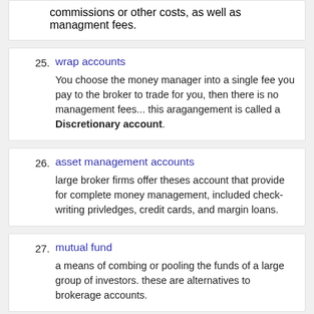commissions or other costs, as well as managment fees.
25. wrap accounts
You choose the money manager into a single fee you pay to the broker to trade for you, then there is no management fees... this aragangement is called a Discretionary account.
26. asset management accounts
large broker firms offer theses account that provide for complete money management, included check-writing privledges, credit cards, and margin loans.
27. mutual fund
a means of combing or pooling the funds of a large group of investors. these are alternatives to brokerage accounts.